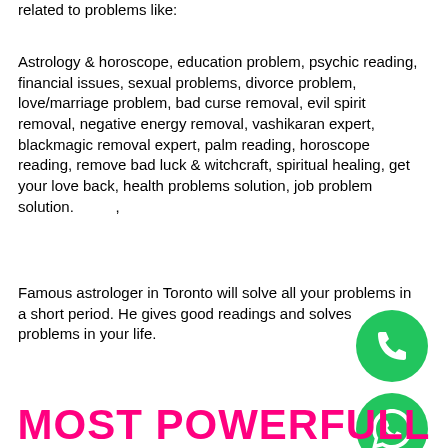related to problems like:
Astrology & horoscope, education problem, psychic reading, financial issues, sexual problems, divorce problem, love/marriage problem, bad curse removal, evil spirit removal, negative energy removal, vashikaran expert, blackmagic removal expert, palm reading, horoscope reading, remove bad luck & witchcraft, spiritual healing, get your love back, health problems solution, job problem solution.  ,
Famous astrologer in Toronto will solve all your problems in a short period. He gives good readings and solves problems in your life.
[Figure (illustration): Green circle phone call icon (telephone receiver symbol)]
[Figure (illustration): Green circle WhatsApp icon]
MOST POWERFULL